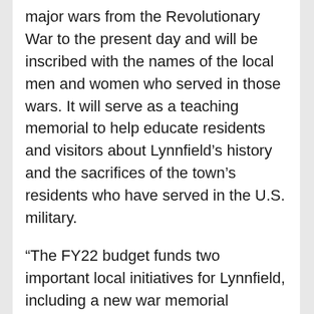major wars from the Revolutionary War to the present day and will be inscribed with the names of the local men and women who served in those wars. It will serve as a teaching memorial to help educate residents and visitors about Lynnfield's history and the sacrifices of the town's residents who have served in the U.S. military.
“The FY22 budget funds two important local initiatives for Lynnfield, including a new war memorial honoring the town’s veterans and improvements to the Town Common for the enjoyment of all residents,” said Jones. “Senator Crighton and I had advocated for these two projects on Lynnfield’s behalf, and I’m pleased we were able to work together to ensure that they were both retained in the final spending bill.”